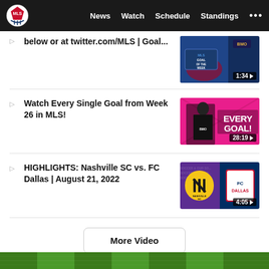MLS | News | Watch | Schedule | Standings
below or at twitter.com/MLS | Goal...
[Figure (screenshot): MLS Goal of the Week video thumbnail with duration 1:34]
Watch Every Single Goal from Week 26 in MLS!
[Figure (screenshot): Every Goal video thumbnail with player and pink background, duration 28:19]
HIGHLIGHTS: Nashville SC vs. FC Dallas | August 21, 2022
[Figure (screenshot): Nashville SC vs FC Dallas highlights video thumbnail, duration 4:05]
More Video